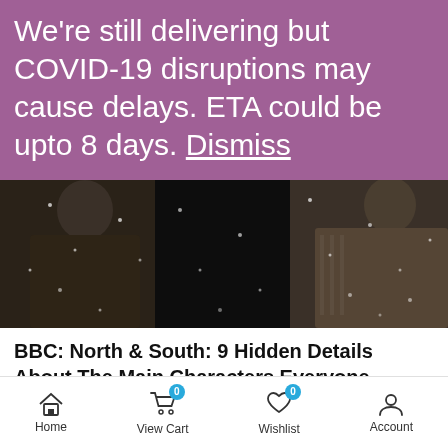We're still delivering but COVID-19 disruptions may cause delays. ETA could be upto 8 days. Dismiss
[Figure (photo): Dark cinematic photo of three people in winter coats standing in snow, from BBC North & South]
BBC: North & South: 9 Hidden Details About The Main Characters Everyone Missed
3 August 2020 | Shaun Harrington
Home | View Cart 0 | Wishlist 0 | Account